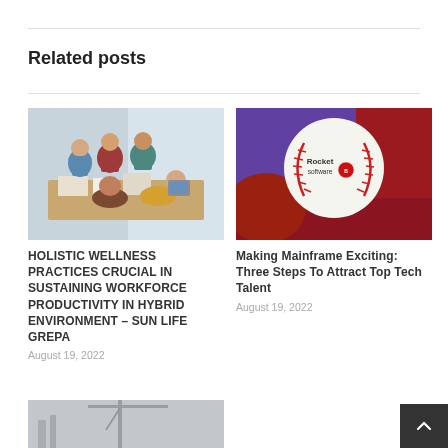Related posts
[Figure (photo): Group of people sitting around a table in an office meeting, collaborating with papers and devices.]
HOLISTIC WELLNESS PRACTICES CRUCIAL IN SUSTAINING WORKFORCE PRODUCTIVITY IN HYBRID ENVIRONMENT – SUN LIFE GREPA
August 19, 2022
[Figure (photo): Close-up of a baseball with Rocket Software and Boston Red Sox logos on it, held in a red glove.]
Making Mainframe Exciting: Three Steps To Attract Top Tech Talent
August 19, 2022
[Figure (photo): Partial view of a construction crane in foggy or overcast conditions.]